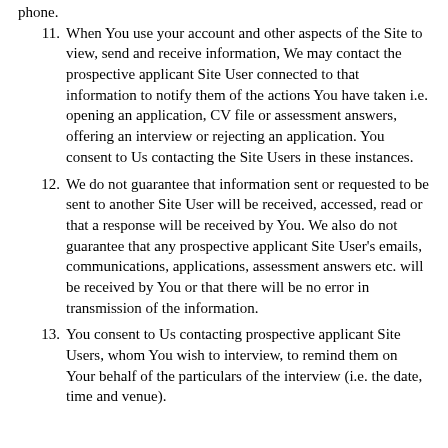phone.
11. When You use your account and other aspects of the Site to view, send and receive information, We may contact the prospective applicant Site User connected to that information to notify them of the actions You have taken i.e. opening an application, CV file or assessment answers, offering an interview or rejecting an application. You consent to Us contacting the Site Users in these instances.
12. We do not guarantee that information sent or requested to be sent to another Site User will be received, accessed, read or that a response will be received by You. We also do not guarantee that any prospective applicant Site User's emails, communications, applications, assessment answers etc. will be received by You or that there will be no error in transmission of the information.
13. You consent to Us contacting prospective applicant Site Users, whom You wish to interview, to remind them on Your behalf of the particulars of the interview (i.e. the date, time and venue).